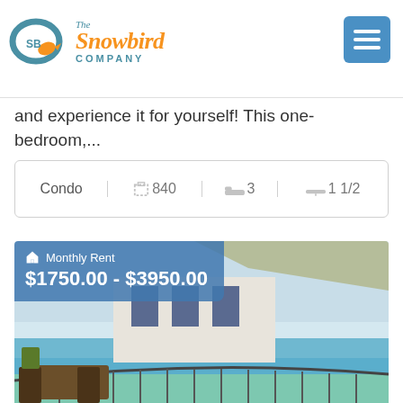[Figure (logo): The Snowbird Company logo with bird icon and stylized text]
and experience it for yourself! This one-bedroom,...
| Type | Sq Ft | Beds | Baths |
| --- | --- | --- | --- |
| Condo | 840 | 3 | 1 1/2 |
[Figure (photo): Beachfront condo balcony with ocean view, outdoor furniture, and building exterior. Overlay shows monthly rent range.]
Monthly Rent
$1750.00 - $3950.00